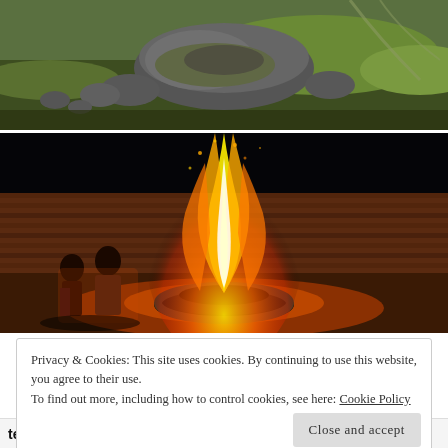[Figure (photo): Aerial or landscape view of rocky terrain and grassland with large boulders, greenery in background]
[Figure (photo): Two people standing near a large bonfire at night, orange flames and embers rising high, circular stone fire pit, brick wall in background]
Privacy & Cookies: This site uses cookies. By continuing to use this website, you agree to their use.
To find out more, including how to control cookies, see here: Cookie Policy
Close and accept
teachers schedule to be completed. During September and